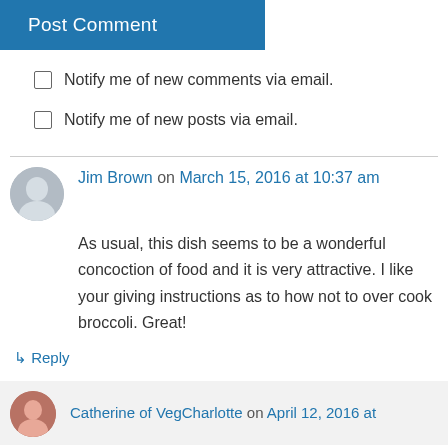Post Comment
Notify me of new comments via email.
Notify me of new posts via email.
Jim Brown on March 15, 2016 at 10:37 am
As usual, this dish seems to be a wonderful concoction of food and it is very attractive. I like your giving instructions as to how not to over cook broccoli. Great!
↳ Reply
Catherine of VegCharlotte on April 12, 2016 at